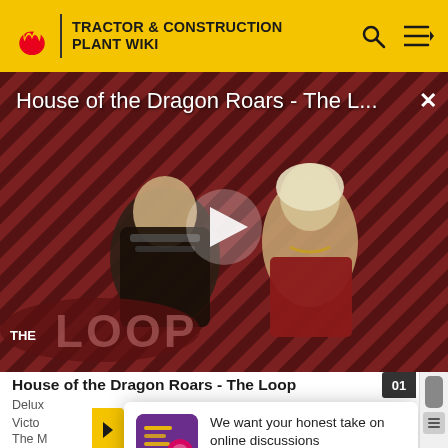TRACTOR & CONSTRUCTION PLANT WIKI
[Figure (screenshot): Video thumbnail showing House of the Dragon Roars - The Loop with two characters against a diagonal stripe background. A play button is centered. 'THE LOOP' watermark visible at bottom left.]
House of the Dragon Roars - The Loop
Delux
Victo ... al.
The M ... of
[Figure (infographic): Survey popup overlay with purple/pink icon showing survey graphic. Text: We want your honest take on online discussions. SURVEY: ONLINE FORUMS]